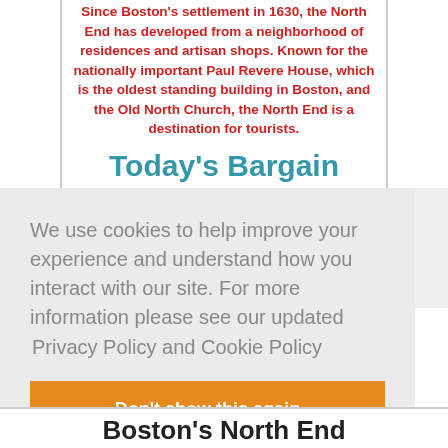Since Boston's settlement in 1630, the North End has developed from a neighborhood of residences and artisan shops. Known for the nationally important Paul Revere House, which is the oldest standing building in Boston, and the Old North Church, the North End is a destination for tourists.
Today's Bargain Price: $9.99
Buy Now at Amazon
Supports BookGorilla with Commissions Earned
We use cookies to help improve your experience and understand how you interact with our site. For more information please see our updated Privacy Policy and Cookie Policy
Don't show this again
Boston's North End